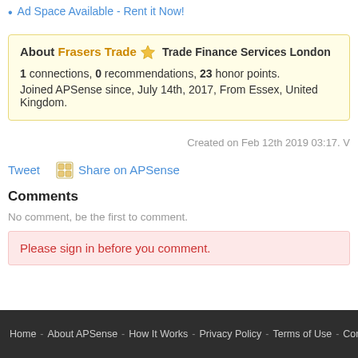Ad Space Available - Rent it Now!
About Frasers Trade ⭐ Trade Finance Services London
1 connections, 0 recommendations, 23 honor points.
Joined APSense since, July 14th, 2017, From Essex, United Kingdom.
Created on Feb 12th 2019 03:17. V
Tweet   Share on APSense
Comments
No comment, be the first to comment.
Please sign in before you comment.
Home - About APSense - How It Works - Privacy Policy - Terms of Use - Contact Us